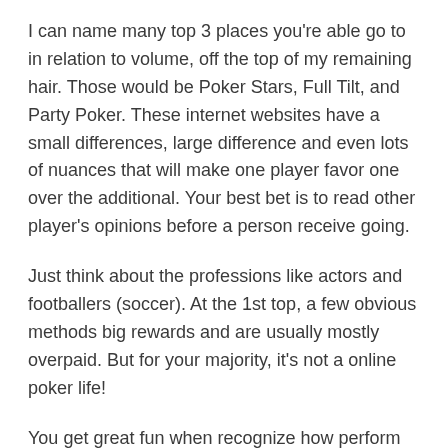I can name many top 3 places you're able go to in relation to volume, off the top of my remaining hair. Those would be Poker Stars, Full Tilt, and Party Poker. These internet websites have a small differences, large difference and even lots of nuances that will make one player favor one over the additional. Your best bet is to read other player's opinions before a person receive going.
Just think about the professions like actors and footballers (soccer). At the 1st top, a few obvious methods big rewards and are usually mostly overpaid. But for your majority, it's not a online poker life!
You get great fun when recognize how perform poker anyone should you should know of the pitfalls. For one, poker can be addictive a person can lose the experience of time. You'll need therefore know when to be able to even one does are winning money. Secondly, you could lose money that you won products and solutions do not play quite. That is why it is essential that you